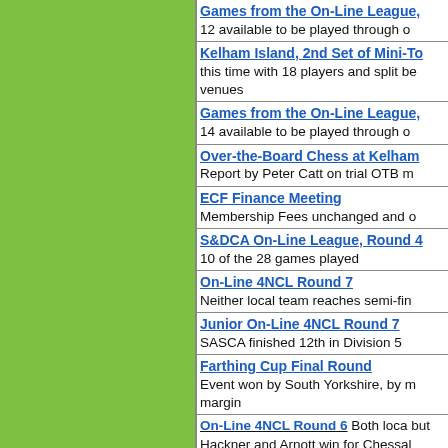[Figure (other): Green panel on the left side of the page]
Games from the On-Line League,
12 available to be played through o
Kelham Island, 2nd Set of Mini-To
this time with 18 players and split be venues
Games from the On-Line League,
14 available to be played through o
Over-the-Board Chess at Kelham
Report by Peter Catt on trial OTB m
ECF Finance Meeting
Membership Fees unchanged and o
S&DCA On-Line League, Round 4
10 of the 28 games played
On-Line 4NCL Round 7
Neither local team reaches semi-fin
Junior On-Line 4NCL Round 7
SASCA finished 12th in Division 5
Farthing Cup Final Round
Event won by South Yorkshire, by m margin
On-Line 4NCL Round 6  Both loca but
Hackner and Arnott win for Chessal Rose.